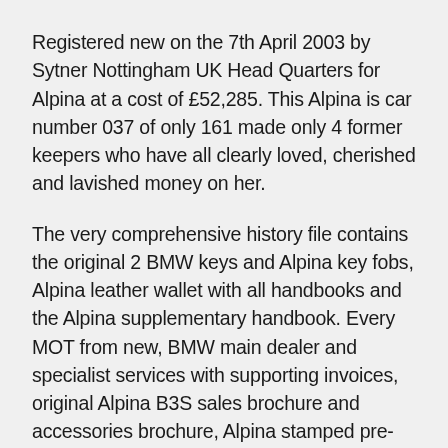Registered new on the 7th April 2003 by Sytner Nottingham UK Head Quarters for Alpina at a cost of £52,285. This Alpina is car number 037 of only 161 made only 4 former keepers who have all clearly loved, cherished and lavished money on her.
The very comprehensive history file contains the original 2 BMW keys and Alpina key fobs, Alpina leather wallet with all handbooks and the Alpina supplementary handbook. Every MOT from new, BMW main dealer and specialist services with supporting invoices, original Alpina B3S sales brochure and accessories brochure, Alpina stamped pre-delivery check dated 7th February 2003, many newspaper and magazine articles, plus multiple invoices for routine maintenance and parts.